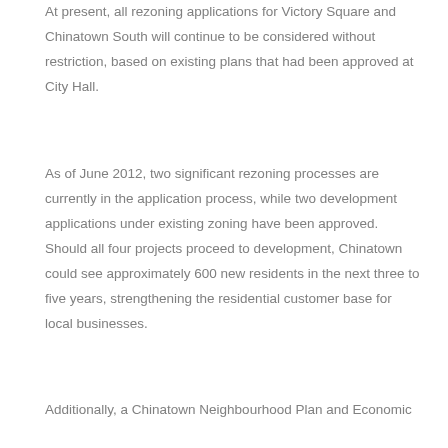At present, all rezoning applications for Victory Square and Chinatown South will continue to be considered without restriction, based on existing plans that had been approved at City Hall.
As of June 2012, two significant rezoning processes are currently in the application process, while two development applications under existing zoning have been approved. Should all four projects proceed to development, Chinatown could see approximately 600 new residents in the next three to five years, strengthening the residential customer base for local businesses.
Additionally, a Chinatown Neighbourhood Plan and Economic